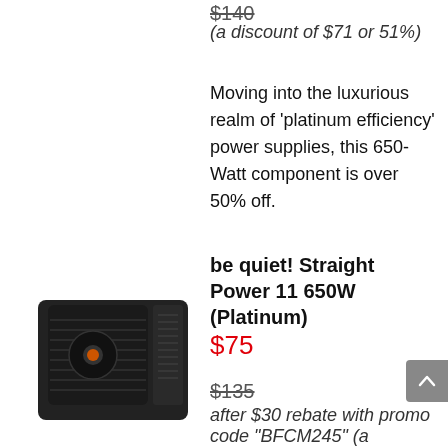$140 (strikethrough)
(a discount of $71 or 51%)
Moving into the luxurious realm of 'platinum efficiency' power supplies, this 650-Watt component is over 50% off.
[Figure (photo): be quiet! Straight Power 11 650W Platinum power supply unit, black box-style unit with fan grille visible]
be quiet! Straight Power 11 650W (Platinum)
$75
$135 (strikethrough)
after $30 rebate with promo code "BFCM245" (a discount of $60 or